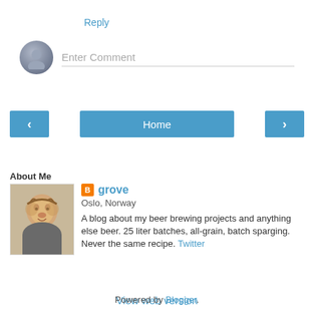Reply
[Figure (other): Comment input box with avatar placeholder and Enter Comment placeholder text]
[Figure (other): Navigation buttons: left arrow, Home, right arrow]
View web version
About Me
[Figure (photo): Profile photo of grove, a man smiling]
grove
Oslo, Norway
A blog about my beer brewing projects and anything else beer. 25 liter batches, all-grain, batch sparging. Never the same recipe. Twitter
View my complete profile
Powered by Blogger.